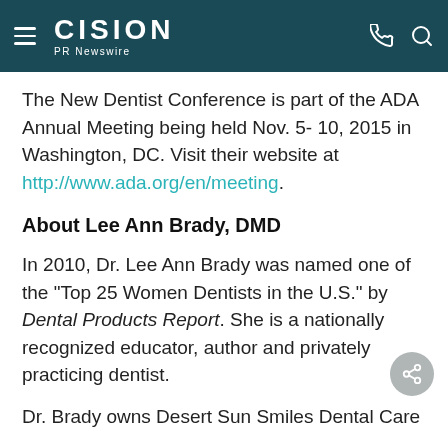CISION PR Newswire
The New Dentist Conference is part of the ADA Annual Meeting being held Nov. 5- 10, 2015 in Washington, DC. Visit their website at http://www.ada.org/en/meeting.
About Lee Ann Brady, DMD
In 2010, Dr. Lee Ann Brady was named one of the "Top 25 Women Dentists in the U.S." by Dental Products Report. She is a nationally recognized educator, author and privately practicing dentist.
Dr. Brady owns Desert Sun Smiles Dental Care